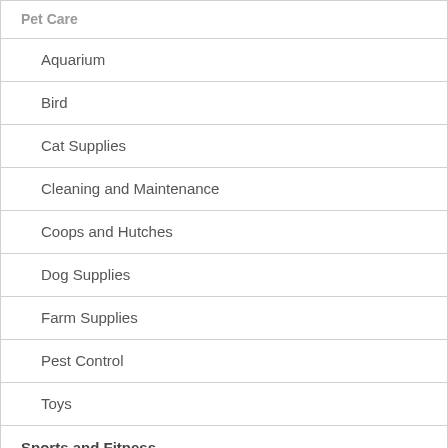| Pet Care |
|   Aquarium |
|   Bird |
|   Cat Supplies |
|   Cleaning and Maintenance |
|   Coops and Hutches |
|   Dog Supplies |
|   Farm Supplies |
|   Pest Control |
|   Toys |
| Sports and Fitness |
|   Basketball and Accessories |